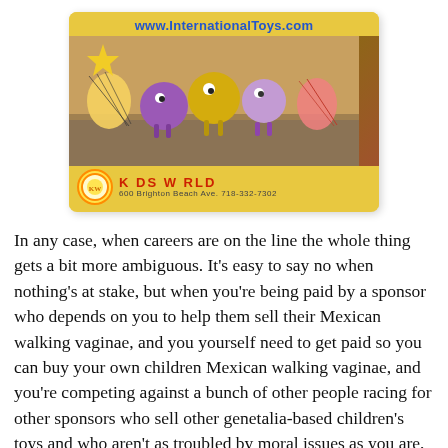[Figure (photo): Advertisement image for Kids World toy store showing colorful Mexican walking toy animals (pom-pom creatures) on a yellow background with the URL www.InternationalToys.com at the top, a 'Mexico' star burst label, and the Kids World store name and address (600 Brighton Beach Ave. 718-332-7302) at the bottom with a circular logo.]
In any case, when careers are on the line the whole thing gets a bit more ambiguous. It's easy to say no when nothing's at stake, but when you're being paid by a sponsor who depends on you to help them sell their Mexican walking vaginae, and you yourself need to get paid so you can buy your own children Mexican walking vaginae, and you're competing against a bunch of other people racing for other sponsors who sell other genetalia-based children's toys and who aren't as troubled by moral issues as you are, then you've got a big decision to make